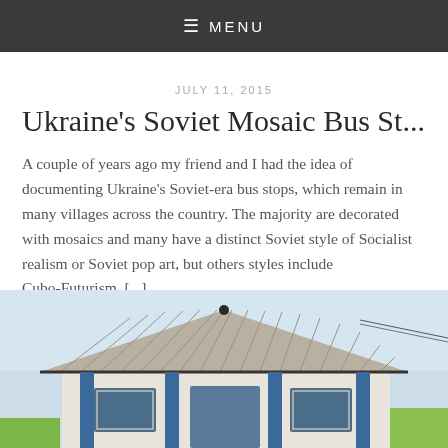≡ MENU
JULY 11, 2015
Ukraine's Soviet Mosaic Bus St...
A couple of years ago my friend and I had the idea of documenting Ukraine's Soviet-era bus stops, which remain in many villages across the country. The majority are decorated with mosaics and many have a distinct Soviet style of Socialist realism or Soviet pop art, but others styles include Cubo-Futurism, [...]
[Figure (photo): Photograph of a small building with a corrugated metal roof and blue columns/trim, resembling a Soviet-era bus stop, against a light blue sky.]